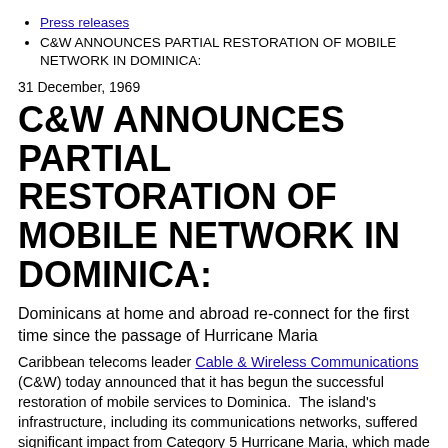Press releases
C&W ANNOUNCES PARTIAL RESTORATION OF MOBILE NETWORK IN DOMINICA:
31 December, 1969
C&W ANNOUNCES PARTIAL RESTORATION OF MOBILE NETWORK IN DOMINICA:
Dominicans at home and abroad re-connect for the first time since the passage of Hurricane Maria
Caribbean telecoms leader Cable & Wireless Communications (C&W) today announced that it has begun the successful restoration of mobile services to Dominica. The island's infrastructure, including its communications networks, suffered significant impact from Category 5 Hurricane Maria, which made landfall in Dominica on Monday night. The Company also announced the extension of free credit to help mobile customers